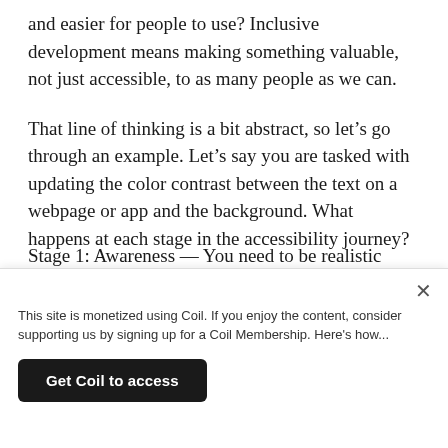and easier for people to use? Inclusive development means making something valuable, not just accessible, to as many people as we can.
That line of thinking is a bit abstract, so let's go through an example. Let's say you are tasked with updating the color contrast between the text on a webpage or app and the background. What happens at each stage in the accessibility journey?
Stage 1: Awareness — You need to be realistic about...
This site is monetized using Coil. If you enjoy the content, consider supporting us by signing up for a Coil Membership. Here's how...
Get Coil to access